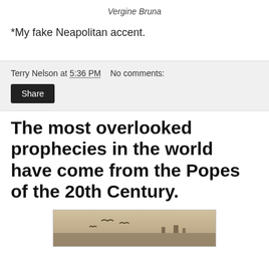Vergine Bruna
*My fake Neapolitan accent.
Terry Nelson at 5:36 PM   No comments:
Share
The most overlooked prophecies in the world have come from the Popes of the 20th Century.
[Figure (photo): Historical painting showing birds in flight over a landscape with structures in the background, rendered in muted brownish tones.]